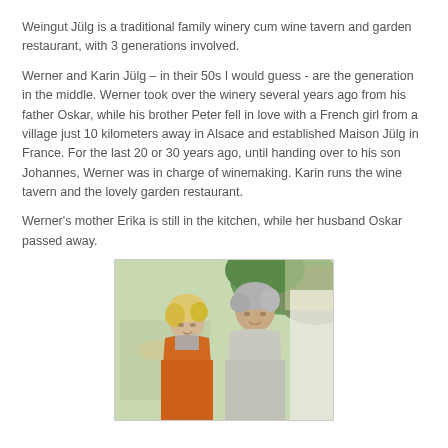Weingut Jülg is a traditional family winery cum wine tavern and garden restaurant, with 3 generations involved.
Werner and Karin Jülg – in their 50s I would guess - are the generation in the middle. Werner took over the winery several years ago from his father Oskar, while his brother Peter fell in love with a French girl from a village just 10 kilometers away in Alsace and established Maison Jülg in France. For the last 20 or 30 years ago, until handing over to his son Johannes, Werner was in charge of winemaking. Karin runs the wine tavern and the lovely garden restaurant.
Werner's mother Erika is still in the kitchen, while her husband Oskar passed away.
[Figure (photo): Outdoor photo of a man and woman (presumably Werner and Karin Jülg) in a garden restaurant setting, with tables and greenery visible in the background. The woman has blonde hair and is wearing an orange top; the man has grey hair and is wearing a light shirt.]